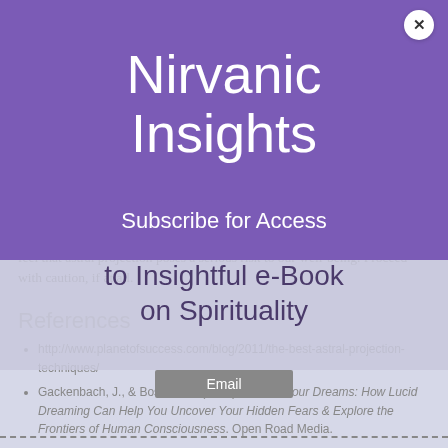Nirvanic Insights
Subscribe for Access to Insightful e-Book on Spirituality
feel that astral projection poses a serious risk to our well-being. Proceed with caution, if at all.
References
http://www.planetofsuccess.com/blog/2011/the-best-astral-projection-techniques/
Gackenbach, J., & Bosveld, J. (2014). Control Your Dreams: How Lucid Dreaming Can Help You Uncover Your Hidden Fears & Explore the Frontiers of Human Consciousness. Open Road Media.
Email